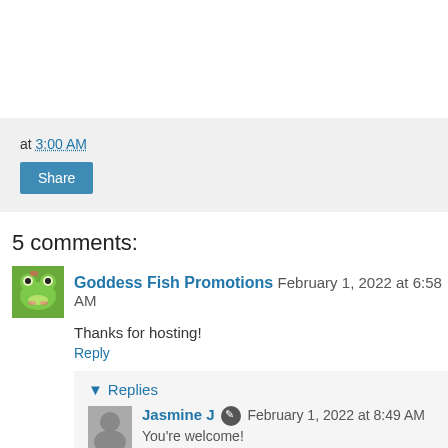at 3:00 AM
Share
5 comments:
Goddess Fish Promotions  February 1, 2022 at 6:58 AM
Thanks for hosting!
Reply
▼ Replies
Jasmine J  February 1, 2022 at 8:49 AM
You're welcome!